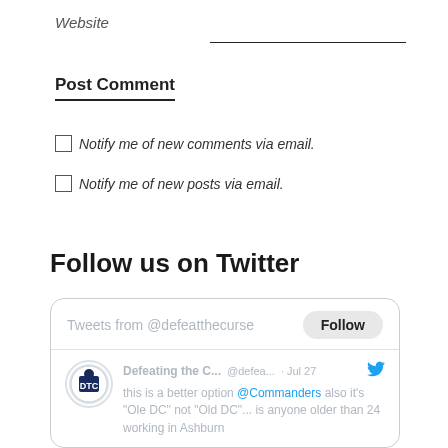Website
Post Comment
Notify me of new comments via email.
Notify me of new posts via email.
Follow us on Twitter
[Figure (screenshot): Twitter widget showing tweets from @defeatthecurse with a Follow button. A tweet from Defeating the C... @defea... Jul 27 reads: 'this is a better option @Commanders also it's "Ole DC" not "Old DC"... is anyone older than 24 working in Ashburn']